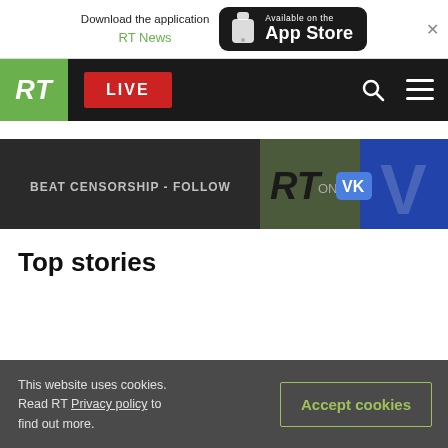Download the application RT News — Available on the App Store
[Figure (screenshot): RT website navigation bar with green RT logo, red LIVE button, search and menu icons]
[Figure (screenshot): Promotional banner: BEAT CENSORSHIP - FOLLOW RT ON VK]
Top stories
This website uses cookies. Read RT Privacy policy to find out more.